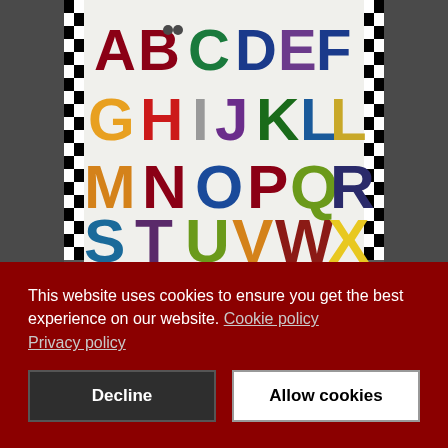[Figure (illustration): Colorful alphabet poster showing letters A through X in large decorative fonts with small illustrated icons/animals associated with each letter, displayed on a white background with a black and white checkered border. The poster is shown on a dark gray background.]
This website uses cookies to ensure you get the best experience on our website. Cookie policy Privacy policy
Decline
Allow cookies